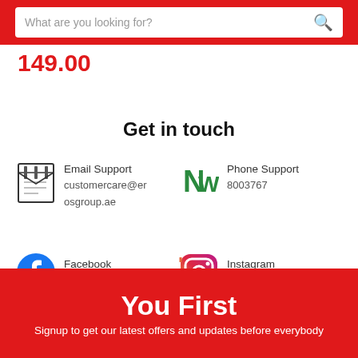What are you looking for?
149.00
Get in touch
Email Support
customercare@erosgroup.ae
Phone Support
8003767
Facebook
@erosuae
Instagram
@erosuae
You First
Signup to get our latest offers and updates before everybody